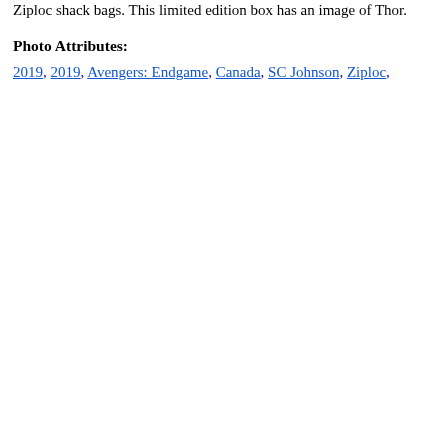Ziploc shack bags. This limited edition box has an image of Thor.
Photo Attributes:
2019, 2019, Avengers: Endgame, Canada, SC Johnson, Ziploc,